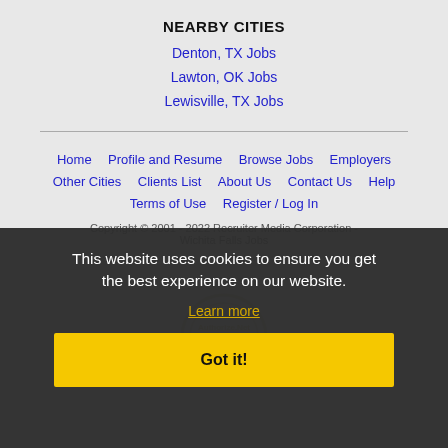NEARBY CITIES
Denton, TX Jobs
Lawton, OK Jobs
Lewisville, TX Jobs
Home   Profile and Resume   Browse Jobs   Employers   Other Cities   Clients List   About Us   Contact Us   Help   Terms of Use   Register / Log In
Copyright © 2001 - 2022 Recruiter Media Corporation - Wichita Falls Jobs
This website uses cookies to ensure you get the best experience on our website.
Learn more
Got it!